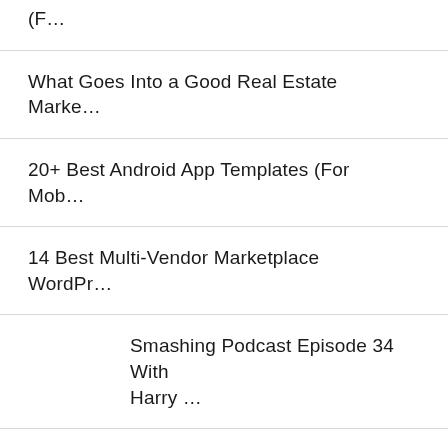(F…
What Goes Into a Good Real Estate Marke…
20+ Best Android App Templates (For Mob…
14 Best Multi-Vendor Marketplace WordPr…
Smashing Podcast Episode 34 With Harry …